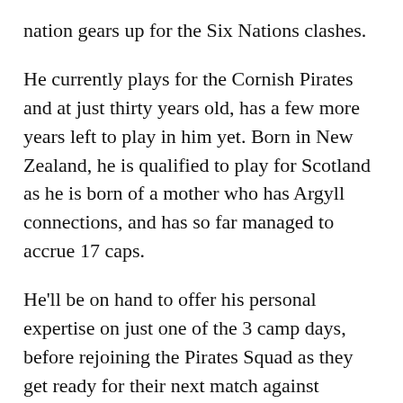nation gears up for the Six Nations clashes.
He currently plays for the Cornish Pirates and at just thirty years old, has a few more years left to play in him yet. Born in New Zealand, he is qualified to play for Scotland as he is born of a mother who has Argyll connections, and has so far managed to accrue 17 caps.
He'll be on hand to offer his personal expertise on just one of the 3 camp days, before rejoining the Pirates Squad as they get ready for their next match against Northampton.